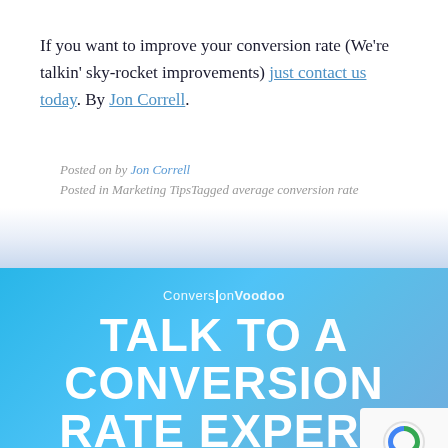If you want to improve your conversion rate (We’re talkin’ sky-rocket improvements) just contact us today. By Jon Correll.
Posted on by Jon Correll
Posted in Marketing TipsTagged average conversion rate
[Figure (other): Blue gradient banner with Conversion Voodoo logo, large white bold headline 'TALK TO A CONVERSION RATE EXPERT NOW', and a white Contact Us button at the bottom.]